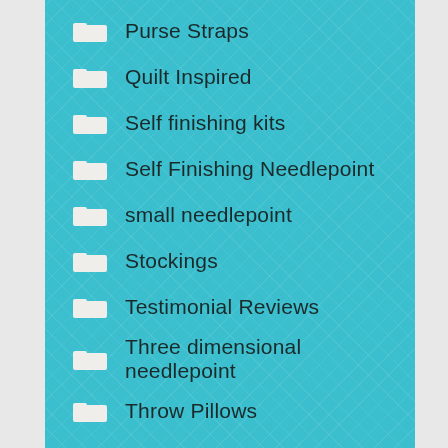Purse Straps
Quilt Inspired
Self finishing kits
Self Finishing Needlepoint
small needlepoint
Stockings
Testimonial Reviews
Three dimensional needlepoint
Throw Pillows
Tooth Fairy needlepoint
Uncategorized
Unicorn needlepoint